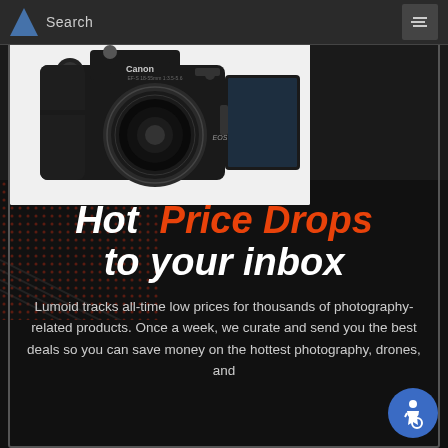Search
[Figure (photo): Canon DSLR camera (black) with flip-out LCD screen, front view showing lens, on white background]
Hot Price Drops to your inbox
Lumoid tracks all-time low prices for thousands of photography-related products. Once a week, we curate and send you the best deals so you can save money on the hottest photography, drones, and